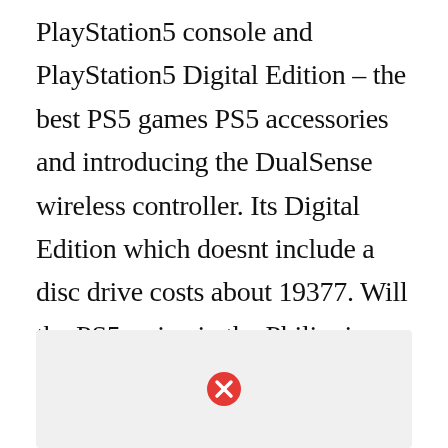PlayStation5 console and PlayStation5 Digital Edition – the best PS5 games PS5 accessories and introducing the DualSense wireless controller. Its Digital Edition which doesnt include a disc drive costs about 19377. Will the PS5 arrive in the Philippines this month. Top-Preise für Playstation5 im Vergleich. PS5 Revealed to Launch on November 20 with a Starting Price.
[Figure (other): Grey advertisement placeholder box with a red circle containing a white X close button in the center bottom area.]